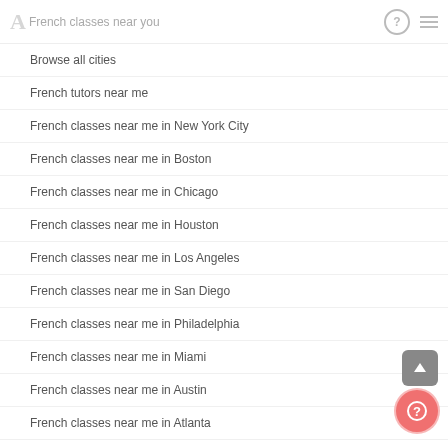French classes near you
Browse all cities
French tutors near me
French classes near me in New York City
French classes near me in Boston
French classes near me in Chicago
French classes near me in Houston
French classes near me in Los Angeles
French classes near me in San Diego
French classes near me in Philadelphia
French classes near me in Miami
French classes near me in Austin
French classes near me in Atlanta
French classes near me in Charlotte
French classes near me in Washington